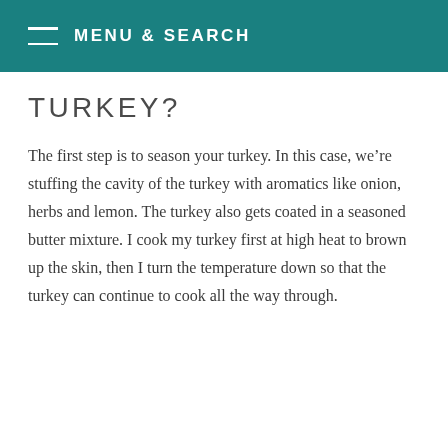MENU & SEARCH
TURKEY?
The first step is to season your turkey. In this case, we're stuffing the cavity of the turkey with aromatics like onion, herbs and lemon. The turkey also gets coated in a seasoned butter mixture. I cook my turkey first at high heat to brown up the skin, then I turn the temperature down so that the turkey can continue to cook all the way through.